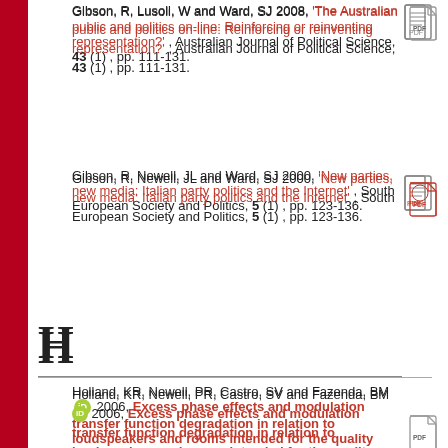Gibson, R, Lusoli, W and Ward, SJ 2008, 'The Australian public and politics on-line: Reinforcing or reinventing representation?' , Australian Journal of Political Science, 43 (1) , pp. 111-131.
Gibson, R, Newell, JL and Ward, SJ 2000, 'New parties, new media: Italian party politics and the Internet' , South European Society and Politics, 5 (1) , pp. 123-136.
H
Holland, KR, Newell, PR, Castro, SV and Fazenda, BM [orcid] 2006, Excess phase effects and modulation transfer function degradation in relation to loudspeakers and rooms intended for the quality control monitoring of music , in: Institute of Acoustics, 2006.
I
Ingham, M and Newell, JL 1999, 'Il voto e la Chiesa: uno studio delle elezioni polacche del 1993' , Polis, 13